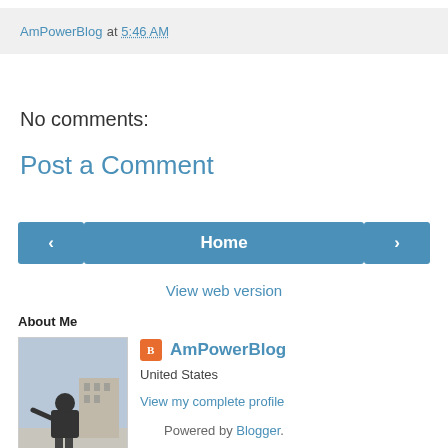AmPowerBlog at 5:46 AM
No comments:
Post a Comment
[Figure (other): Navigation buttons: left arrow, Home, right arrow]
View web version
About Me
[Figure (photo): Profile photo showing a statue of a figure on a pedestal outdoors]
AmPowerBlog
United States
View my complete profile
Powered by Blogger.